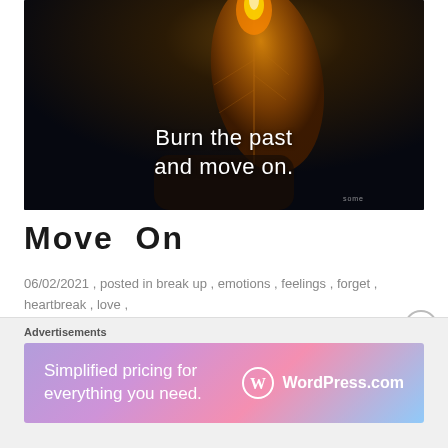[Figure (photo): Dark atmospheric photo of a burning/glowing autumn leaf held in hands, with white text overlay reading 'Burn the past and move on.' and a small watermark.]
Move  On
06/02/2021, posted in break up, emotions, feelings, forget, heartbreak, love, mood, poetry, relationships
Advertisements
[Figure (screenshot): WordPress.com advertisement banner with gradient purple-pink-blue background. Left side: 'Simplified pricing for everything you need.' Right side: WordPress.com logo with W icon.]